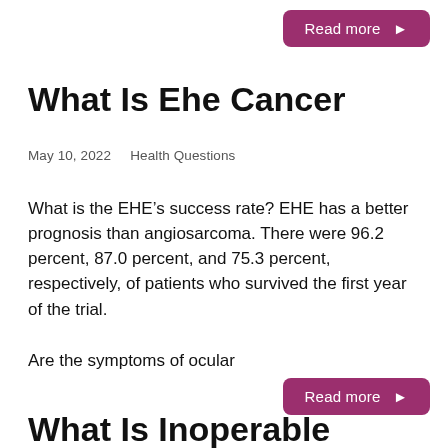Read more ▶
What Is Ehe Cancer
May 10, 2022    Health Questions
What is the EHE's success rate? EHE has a better prognosis than angiosarcoma. There were 96.2 percent, 87.0 percent, and 75.3 percent, respectively, of patients who survived the first year of the trial.
Are the symptoms of ocular
Read more ▶
What Is Inoperable Cancer